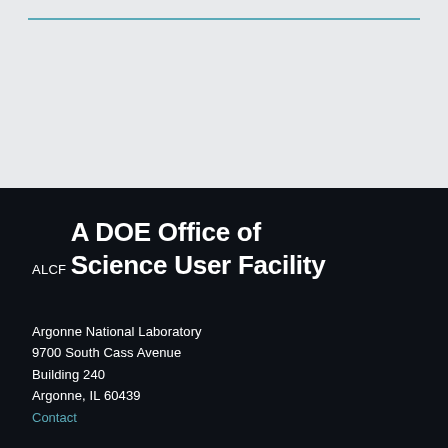ALCF
A DOE Office of Science User Facility
Argonne National Laboratory
9700 South Cass Avenue
Building 240
Argonne, IL 60439
Contact